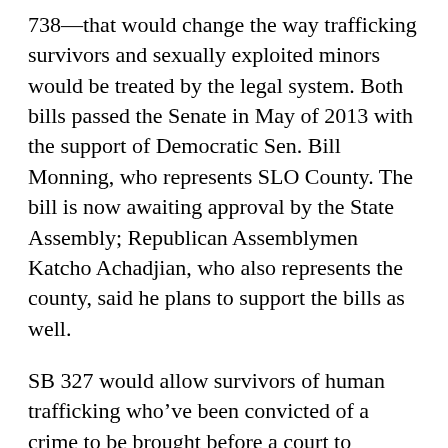738—that would change the way trafficking survivors and sexually exploited minors would be treated by the legal system. Both bills passed the Senate in May of 2013 with the support of Democratic Sen. Bill Monning, who represents SLO County. The bill is now awaiting approval by the State Assembly; Republican Assemblymen Katcho Achadjian, who also represents the county, said he plans to support the bills as well.
SB 327 would allow survivors of human trafficking who've been convicted of a crime to be brought before a court to determine if detention is lawful, if expert testimony on human trafficking was presented at trial, and if there's reasonable probability that had that testimony been presented the outcome may